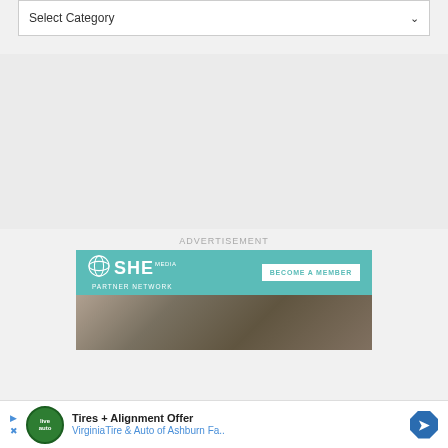Select Category
ADVERTISEMENT
[Figure (screenshot): SHE Media Partner Network advertisement banner with teal background, logo, and 'BECOME A MEMBER' button, with photo of smiling woman below]
[Figure (screenshot): Bottom advertisement bar: Tires + Alignment Offer - VirginiaTire & Auto of Ashburn Fa..]